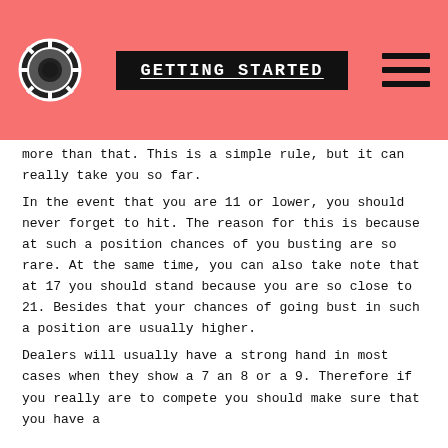GETTING STARTED
more than that. This is a simple rule, but it can really take you so far.
In the event that you are 11 or lower, you should never forget to hit. The reason for this is because at such a position chances of you busting are so rare. At the same time, you can also take note that at 17 you should stand because you are so close to 21. Besides that your chances of going bust in such a position are usually higher.
Dealers will usually have a strong hand in most cases when they show a 7 an 8 or a 9. Therefore if you really are to compete you should make sure that you have a